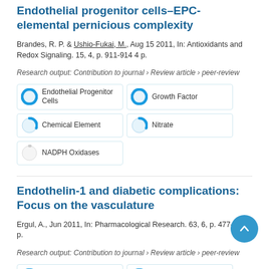Endothelial progenitor cells–EPC-elemental pernicious complexity
Brandes, R. P. & Ushio-Fukai, M., Aug 15 2011, In: Antioxidants and Redox Signaling. 15, 4, p. 911-914 4 p.
Research output: Contribution to journal › Review article › peer-review
[Figure (infographic): Fingerprint keyword badges: Endothelial Progenitor Cells (100% filled, blue), Growth Factor (100% filled, blue), Chemical Element (70% filled, blue), Nitrate (70% filled, blue), NADPH Oxidases (10% filled, light)]
Endothelin-1 and diabetic complications: Focus on the vasculature
Ergul, A., Jun 2011, In: Pharmacological Research. 63, 6, p. 477-482 6 p.
Research output: Contribution to journal › Review article › peer-review
[Figure (infographic): Fingerprint keyword badges: Endothelin-1 (100% filled, blue), Diabetes Complications (100% filled, blue)]